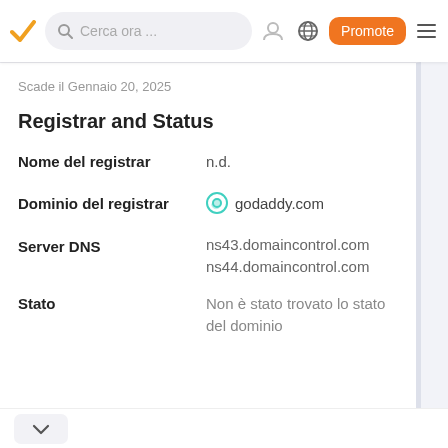Cerca ora ... | Promote
Scade il Gennaio 20, 2025
Registrar and Status
Nome del registrar: n.d.
Dominio del registrar: godaddy.com
Server DNS: ns43.domaincontrol.com, ns44.domaincontrol.com
Stato: Non è stato trovato lo stato del dominio